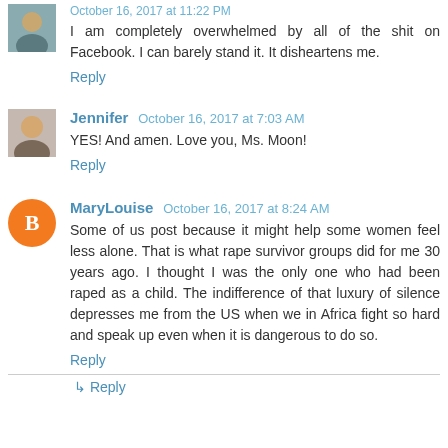October 16, 2017 at 11:22 PM
I am completely overwhelmed by all of the shit on Facebook. I can barely stand it. It disheartens me.
Reply
Jennifer  October 16, 2017 at 7:03 AM
YES! And amen. Love you, Ms. Moon!
Reply
MaryLouise  October 16, 2017 at 8:24 AM
Some of us post because it might help some women feel less alone. That is what rape survivor groups did for me 30 years ago. I thought I was the only one who had been raped as a child. The indifference of that luxury of silence depresses me from the US when we in Africa fight so hard and speak up even when it is dangerous to do so.
Reply